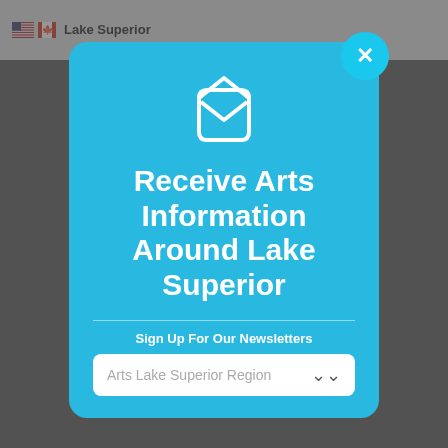[Figure (screenshot): Website header with US and Canadian flags and 'Lake Superior' site title on gray background]
[Figure (illustration): Modal popup dialog with cyan/light blue background, email envelope icon, close button (X) in top right, title text 'Receive Arts Information Around Lake Superior', a divider line, 'Sign Up For Our Newsletters' label, and a dropdown field reading 'Arts Lake Superior Region']
Receive Arts Information Around Lake Superior
Sign Up For Our Newsletters
Arts Lake Superior Region